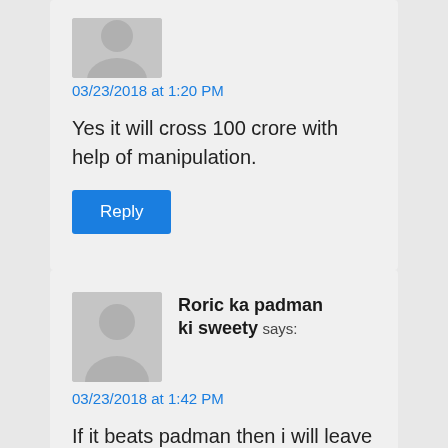03/23/2018 at 1:20 PM
Yes it will cross 100 crore with help of manipulation.
Reply
Roric ka padman ki sweety says:
03/23/2018 at 1:42 PM
If it beats padman then i will leave this website